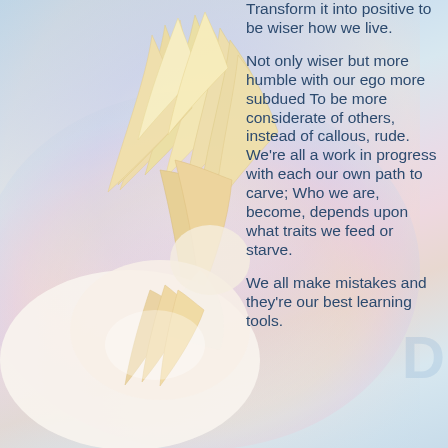[Figure (illustration): A white Pegasus (winged horse) with golden feathered wings spread upward, set against a soft pastel rainbow background in blues, pinks, and purples. The horse's body and wings are rendered in cream and golden tones.]
Transform it into positive to be wiser how we live.

Not only wiser but more humble with our ego more subdued
To be more considerate of others, instead of callous, rude.
We're all a work in progress with each our own path to carve;
Who we are, become, depends upon what traits we feed or starve.

We all make mistakes and they're our best learning tools.